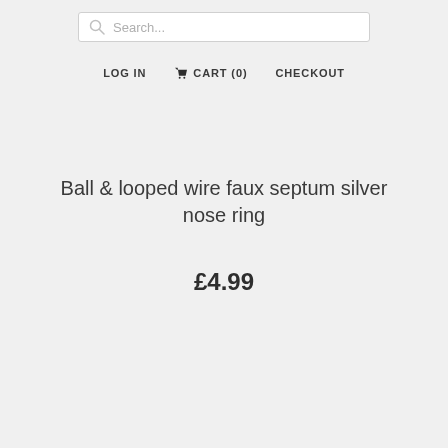Search...
LOG IN  CART (0)  CHECKOUT
Ball & looped wire faux septum silver nose ring
£4.99